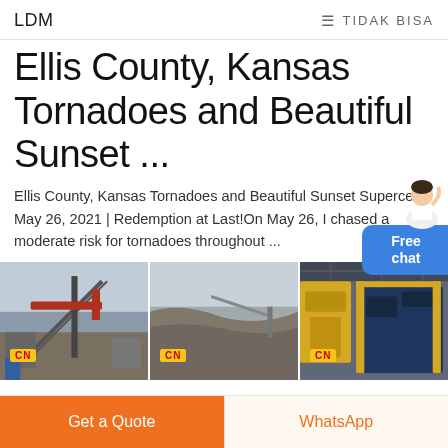LDM  ≡ TIDAK BISA
Ellis County, Kansas Tornadoes and Beautiful Sunset ...
Ellis County, Kansas Tornadoes and Beautiful Sunset Supercell May 26, 2021 | Redemption at Last!On May 26, I chased a moderate risk for tornadoes throughout ...
[Figure (photo): Three industrial/mining facility photos side by side showing conveyor systems, quarry operations, and warehouse equipment with CN logos]
Get a Quote
WhatsApp